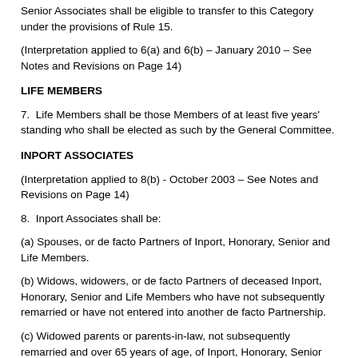Senior Associates shall be eligible to transfer to this Category under the provisions of Rule 15.
(Interpretation applied to 6(a) and 6(b) – January 2010 – See Notes and Revisions on Page 14)
LIFE MEMBERS
7.  Life Members shall be those Members of at least five years' standing who shall be elected as such by the General Committee.
INPORT ASSOCIATES
(Interpretation applied to 8(b) - October 2003 – See Notes and Revisions on Page 14)
8.  Inport Associates shall be:
(a) Spouses, or de facto Partners of Inport, Honorary, Senior and Life Members.
(b) Widows, widowers, or de facto Partners of deceased Inport, Honorary, Senior and Life Members who have not subsequently remarried or have not entered into another de facto Partnership.
(c) Widowed parents or parents-in-law, not subsequently remarried and over 65 years of age, of Inport, Honorary, Senior